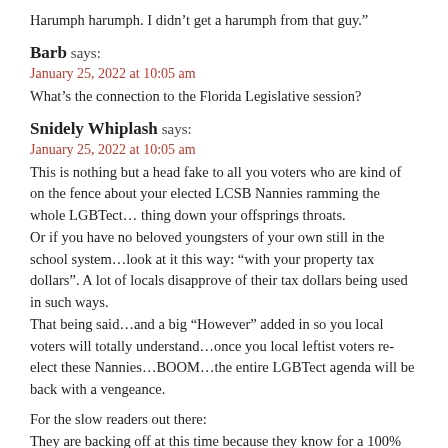Harumph harumph. I didn’t get a harumph from that guy.”
Barb says:
January 25, 2022 at 10:05 am
What’s the connection to the Florida Legislative session?
Snidely Whiplash says:
January 25, 2022 at 10:05 am
This is nothing but a head fake to all you voters who are kind of on the fence about your elected LCSB Nannies ramming the whole LGBTect… thing down your offsprings throats.
Or if you have no beloved youngsters of your own still in the school system…look at it this way: “with your property tax dollars”. A lot of locals disapprove of their tax dollars being used in such ways.
That being said…and a big “However” added in so you local voters will totally understand…once you local leftist voters re-elect these Nannies…BOOM…the entire LGBTect agenda will be back with a vengeance.

For the slow readers out there:
They are backing off at this time because they know for a 100% fact you local normally leftist right down the line voters WILL NOT re-elect them if they keep ramming this LGBTect… agenda down our local children’s throats … until AFTER y’all re-elect them that is…who ya gonna vote for?
James says: